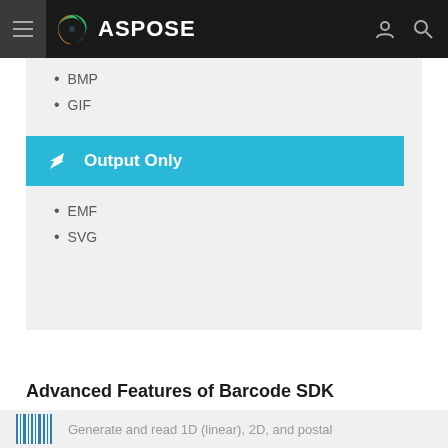[Figure (logo): Aspose logo with colorful swirl and white ASPOSE text on dark navbar, with hamburger menu, user icon and search icon]
BMP
GIF
Output Only
EMF
SVG
Advanced Features of Barcode SDK
Generate and read 1D (linear), 2D, and postal